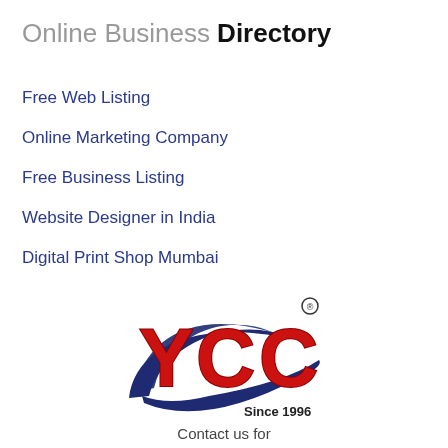Online Business Directory
Free Web Listing
Online Marketing Company
Free Business Listing
Website Designer in India
Digital Print Shop Mumbai
[Figure (logo): YCC logo with red 3D letters 'YCC' and a dark blue swoosh underneath, with 'Since 1996' text and a registered trademark symbol]
Contact us for